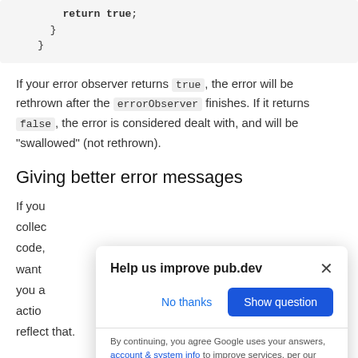[Figure (screenshot): Code block showing: return true; } }]
If your error observer returns true, the error will be rethrown after the errorObserver finishes. If it returns false, the error is considered dealt with, and will be "swallowed" (not rethrown).
Giving better error messages
If you collect code, want you a action reflect that.
[Figure (screenshot): Modal dialog: 'Help us improve pub.dev' with 'No thanks' and 'Show question' buttons, and footer text: 'By continuing, you agree Google uses your answers, account & system info to improve services, per our Privacy & Terms.']